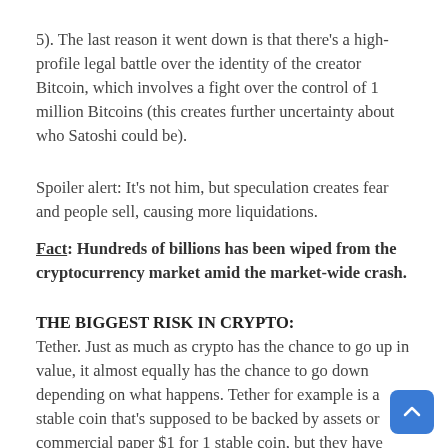5). The last reason it went down is that there's a high-profile legal battle over the identity of the creator Bitcoin, which involves a fight over the control of 1 million Bitcoins (this creates further uncertainty about who Satoshi could be).
Spoiler alert: It's not him, but speculation creates fear and people sell, causing more liquidations.
Fact: Hundreds of billions has been wiped from the cryptocurrency market amid the market-wide crash.
THE BIGGEST RISK IN CRYPTO:
Tether. Just as much as crypto has the chance to go up in value, it almost equally has the chance to go down depending on what happens. Tether for example is a stable coin that's supposed to be backed by assets or commercial paper $1 for 1 stable coin, but they have been cranking their